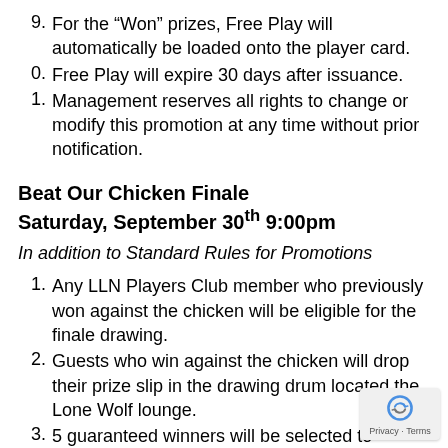9. For the “Won” prizes, Free Play will automatically be loaded onto the player card.
0. Free Play will expire 30 days after issuance.
1. Management reserves all rights to change or modify this promotion at any time without prior notification.
Beat Our Chicken Finale Saturday, September 30th 9:00pm
In addition to Standard Rules for Promotions
1. Any LLN Players Club member who previously won against the chicken will be eligible for the finale drawing.
2. Guests who win against the chicken will drop their prize slip in the drawing drum located the Lone Wolf lounge.
3. 5 guaranteed winners will be selected to